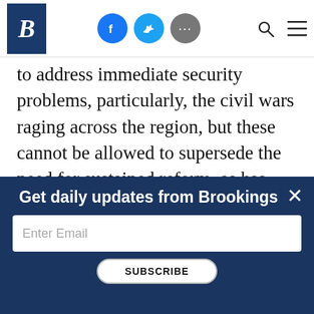B [Brookings logo] | Facebook | Twitter | More | Search | Menu
to address immediate security problems, particularly, the civil wars raging across the region, but these cannot be allowed to supersede the need for sustained reform, as has been the case too often in the past.
Longer-term solutions
It is critical that the strategies employed by
Get daily updates from Brookings
Enter Email
SUBSCRIBE